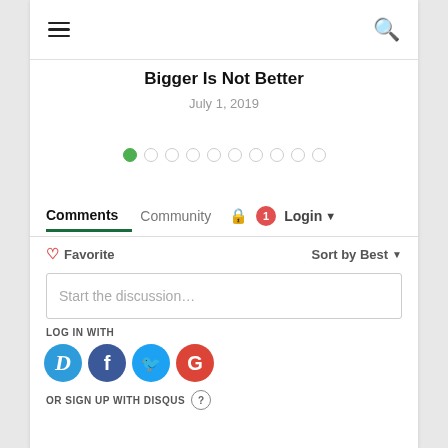≡  🔍
Bigger Is Not Better
July 1, 2019
[Figure (infographic): Pagination dots: one filled green circle followed by nine empty circles]
Comments   Community   🔒  1  Login ▾
♡ Favorite   Sort by Best ▾
Start the discussion…
LOG IN WITH
[Figure (illustration): Social login icons: Disqus (blue speech bubble with D), Facebook (dark blue circle with f), Twitter (light blue circle with bird), Google (red circle with G)]
OR SIGN UP WITH DISQUS  ?